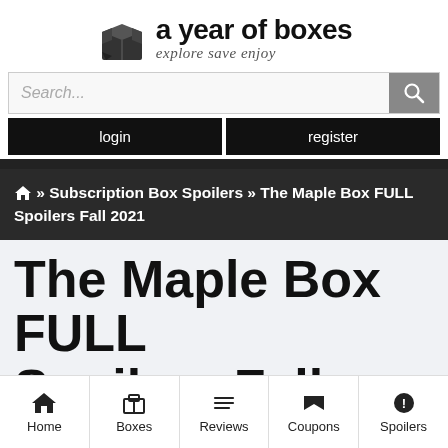[Figure (logo): A Year of Boxes logo with box icon and tagline 'explore save enjoy']
Search...
login
register
⌂ » Subscription Box Spoilers » The Maple Box FULL Spoilers Fall 2021
The Maple Box FULL Spoilers Fall 2021
Home | Boxes | Reviews | Coupons | Spoilers